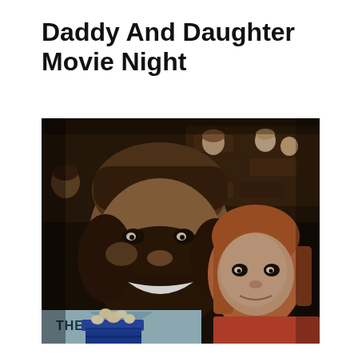Daddy And Daughter Movie Night
[Figure (photo): A selfie photo of a bearded man and a young red-haired girl sitting in a movie theater. The man is smiling broadly and wearing a light blue shirt with text reading 'THE BA...' partially visible. The girl is leaning against him wearing a red/orange top. In the background are other moviegoers seated in dark theater chairs. A blue popcorn container is visible at the bottom.]